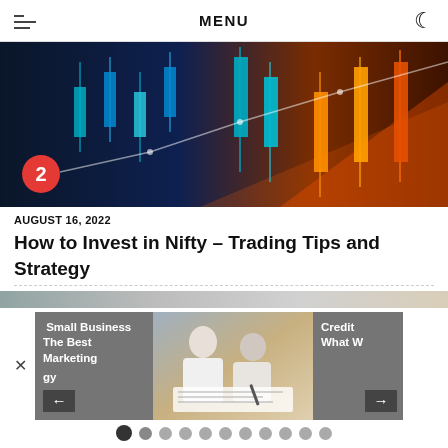MENU
[Figure (photo): Stock market candlestick chart with blue and orange glowing candles on dark background, numbered badge '2' in bottom-left corner]
AUGUST 16, 2022
How to Invest in Nifty – Trading Tips and Strategy
[Figure (screenshot): Website carousel showing navigation with close button, left card with partial text 'Small Business The Best Marketing gy', center card with business photo, right card with partial text 'Credit What W', navigation arrows, and pagination dots]